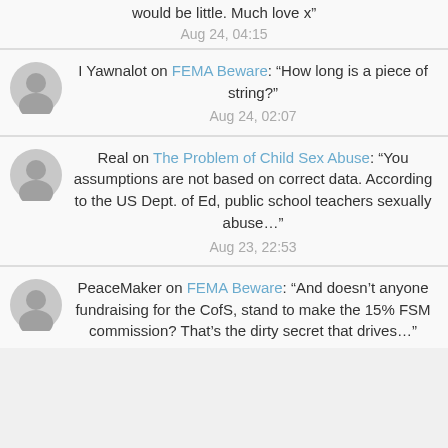would be little. Much love x"
Aug 24, 04:15
I Yawnalot on FEMA Beware: “How long is a piece of string?"
Aug 24, 02:07
Real on The Problem of Child Sex Abuse: “You assumptions are not based on correct data. According to the US Dept. of Ed, public school teachers sexually abuse…"
Aug 23, 22:53
PeaceMaker on FEMA Beware: “And doesn’t anyone fundraising for the CofS, stand to make the 15% FSM commission? That’s the dirty secret that drives…"